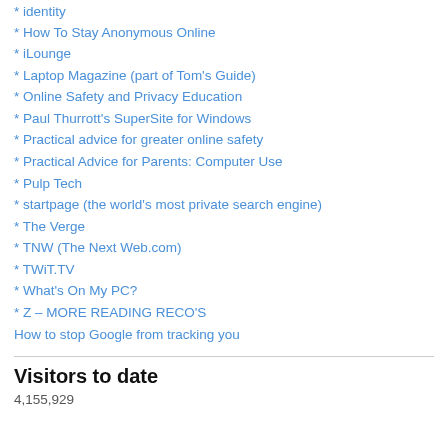* identity
* How To Stay Anonymous Online
* iLounge
* Laptop Magazine (part of Tom's Guide)
* Online Safety and Privacy Education
* Paul Thurrott's SuperSite for Windows
* Practical advice for greater online safety
* Practical Advice for Parents: Computer Use
* Pulp Tech
* startpage (the world's most private search engine)
* The Verge
* TNW (The Next Web.com)
* TWiT.TV
* What's On My PC?
* Z – MORE READING RECO'S
How to stop Google from tracking you
Visitors to date
4,155,929